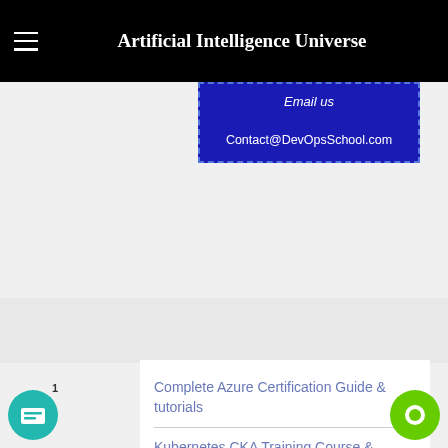Artificial Intelligence Universe
Email us

Contact@DevOpsSchool.com
Complete Azure Certification Guide & tutorials
Kubernetes CKA Training Course & Certification by Industry Expert Trainer
Elastic Training Course & Certification by Industry Expert Trainer